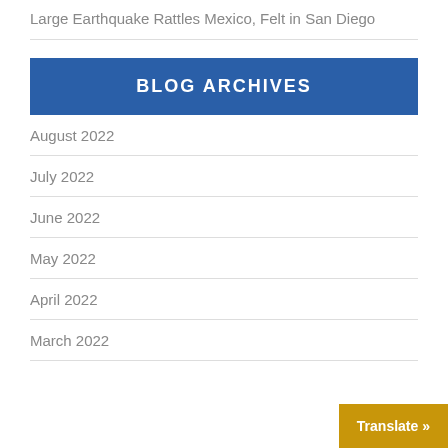Large Earthquake Rattles Mexico, Felt in San Diego
BLOG ARCHIVES
August 2022
July 2022
June 2022
May 2022
April 2022
March 2022